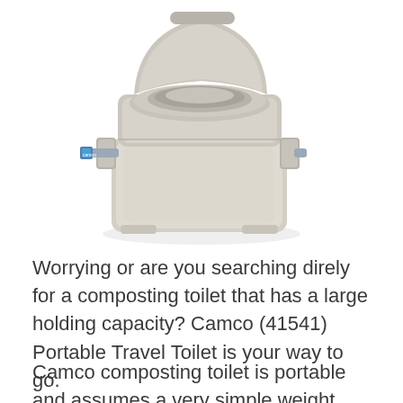[Figure (photo): A Camco portable travel toilet in light gray/beige plastic, shown at an angle with the lid open, displaying the bowl inside. The unit has latching mechanisms on the sides and a pump handle visible at the front with a blue Camco label.]
Worrying or are you searching direly for a composting toilet that has a large holding capacity? Camco (41541) Portable Travel Toilet is your way to go.
Camco composting toilet is portable and assumes a very simple weight which brings